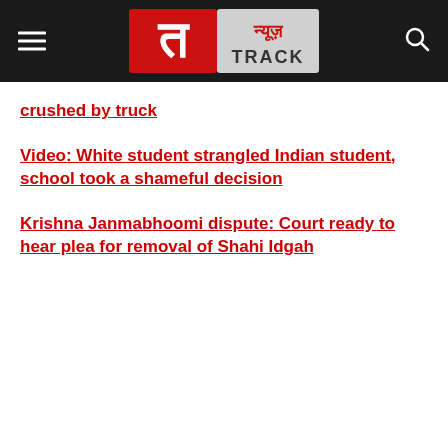News Track - न्यूज़ TRACK
crushed by truck
Video: White student strangled Indian student, school took a shameful decision
Krishna Janmabhoomi dispute: Court ready to hear plea for removal of Shahi Idgah